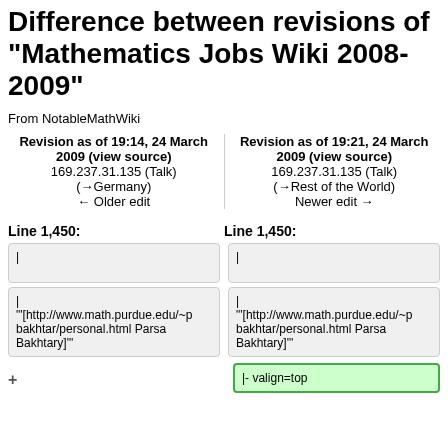Difference between revisions of "Mathematics Jobs Wiki 2008-2009"
From NotableMathWiki
Revision as of 19:14, 24 March 2009 (view source)
169.237.31.135 (Talk)
(→Germany)
← Older edit
Revision as of 19:21, 24 March 2009 (view source)
169.237.31.135 (Talk)
(→Rest of the World)
Newer edit →
Line 1,450:
Line 1,450:
|
|
|
"'[http://www.math.purdue.edu/~pbakhtar/personal.html Parsa Bakhtary]'"
|
"'[http://www.math.purdue.edu/~pbakhtar/personal.html Parsa Bakhtary]'"
|- valign=top